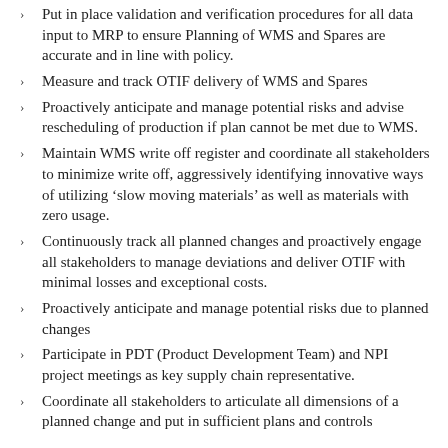Put in place validation and verification procedures for all data input to MRP to ensure Planning of WMS and Spares are accurate and in line with policy.
Measure and track OTIF delivery of WMS and Spares
Proactively anticipate and manage potential risks and advise rescheduling of production if plan cannot be met due to WMS.
Maintain WMS write off register and coordinate all stakeholders to minimize write off, aggressively identifying innovative ways of utilizing ‘slow moving materials’ as well as materials with zero usage.
Continuously track all planned changes and proactively engage all stakeholders to manage deviations and deliver OTIF with minimal losses and exceptional costs.
Proactively anticipate and manage potential risks due to planned changes
Participate in PDT (Product Development Team) and NPI project meetings as key supply chain representative.
Coordinate all stakeholders to articulate all dimensions of a planned change and put in sufficient plans and controls